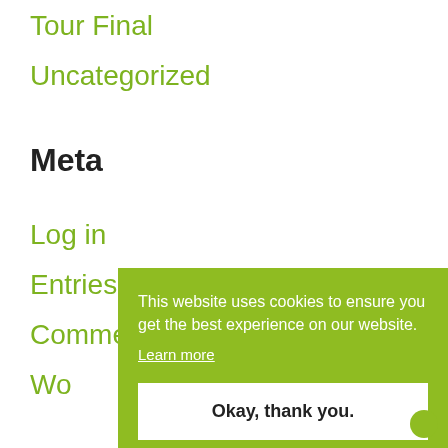Tour Final
Uncategorized
Meta
Log in
Entries feed
Comments feed
Wo
This website uses cookies to ensure you get the best experience on our website.
Learn more
Okay, thank you.